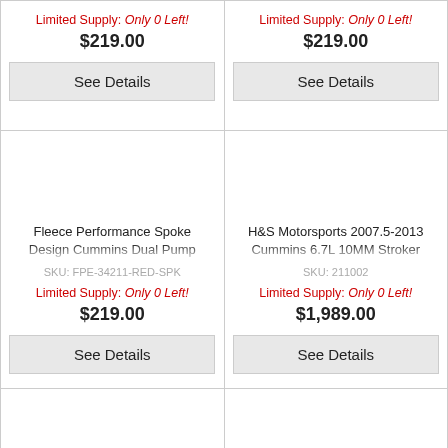Limited Supply: Only 0 Left!
$219.00
See Details
Limited Supply: Only 0 Left!
$219.00
See Details
Fleece Performance Spoke Design Cummins Dual Pump Pulley Fleece Red Fleece
SKU: FPE-34211-RED-SPK
Limited Supply: Only 0 Left!
$219.00
See Details
H&S Motorsports 2007.5-2013 Cummins 6.7L 10MM Stroker Performance CP3 Pump |
SKU: 211002
Limited Supply: Only 0 Left!
$1,989.00
See Details